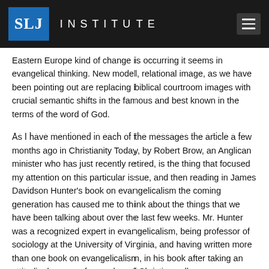SLJ INSTITUTE
Eastern Europe kind of change is occurring it seems in evangelical thinking. New model, relational image, as we have been pointing out are replacing biblical courtroom images with crucial semantic shifts in the famous and best known in the terms of the word of God.
As I have mentioned in each of the messages the article a few months ago in Christianity Today, by Robert Brow, an Anglican minister who has just recently retired, is the thing that focused my attention on this particular issue, and then reading in James Davidson Hunter's book on evangelicalism the coming generation has caused me to think about the things that we have been talking about over the last few weeks. Mr. Hunter was a recognized expert in evangelicalism, being professor of sociology at the University of Virginia, and having written more than one book on evangelicalism, in his book after taking an attitudinal survey of a number of Christian colleges, among them colleges like, Wheaton, Westmont, and evangelical seminaries, like Gordon-Conwell Seminary, Fuller